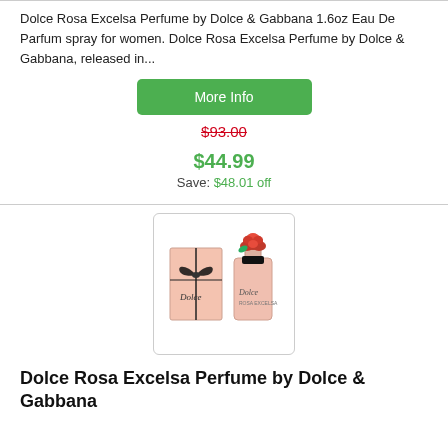Dolce Rosa Excelsa Perfume by Dolce & Gabbana 1.6oz Eau De Parfum spray for women. Dolce Rosa Excelsa Perfume by Dolce & Gabbana, released in...
More Info
$93.00
$44.99
Save: $48.01 off
[Figure (photo): Dolce Rosa Excelsa perfume product photo showing a pink box and bottle with a red rose cap]
Dolce Rosa Excelsa Perfume by Dolce & Gabbana